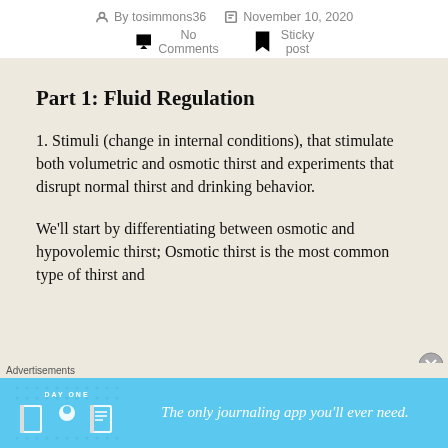By tosimmons36   November 10, 2020   No Comments   Sticky post
Part 1: Fluid Regulation
1. Stimuli (change in internal conditions), that stimulate both volumetric and osmotic thirst and experiments that disrupt normal thirst and drinking behavior.
We'll start by differentiating between osmotic and hypovolemic thirst; Osmotic thirst is the most common type of thirst and
[Figure (screenshot): Advertisement banner for Day One journaling app with blue background, icons of a book, person, and journal, and text 'The only journaling app you'll ever need.']